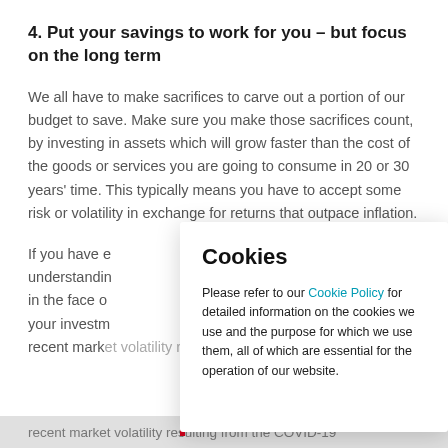4. Put your savings to work for you – but focus on the long term
We all have to make sacrifices to carve out a portion of our budget to save. Make sure you make those sacrifices count, by investing in assets which will grow faster than the cost of the goods or services you are going to consume in 20 or 30 years' time. This typically means you have to accept some risk or volatility in exchange for returns that outpace inflation.
If you have e[xperience or] understandin[g ...] in the face o[f ...] your investm[ent through] recent market volatility resulting from the COVID-19
Cookies

Please refer to our Cookie Policy for detailed information on the cookies we use and the purpose for which we use them, all of which are essential for the operation of our website.